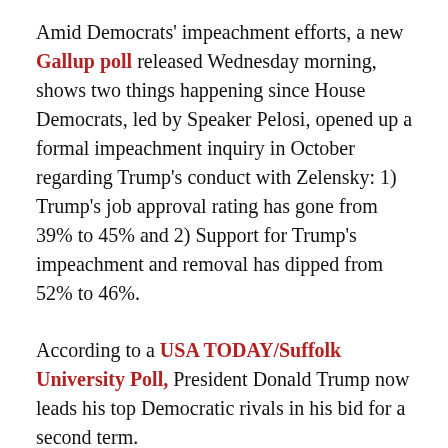Amid Democrats' impeachment efforts, a new Gallup poll released Wednesday morning, shows two things happening since House Democrats, led by Speaker Pelosi, opened up a formal impeachment inquiry in October regarding Trump's conduct with Zelensky: 1) Trump's job approval rating has gone from 39% to 45% and 2) Support for Trump's impeachment and removal has dipped from 52% to 46%.
According to a USA TODAY/Suffolk University Poll, President Donald Trump now leads his top Democratic rivals in his bid for a second term.
The national survey, taken as the House of Representatives planned an impeachment vote and the Senate a trial, showed Trump defeating former Vice President Joe Biden by 3 percentage points, Vermont Sen. Bernie Sanders by 5 points, and Massachusetts Sen. Elizabeth Warren by 8...